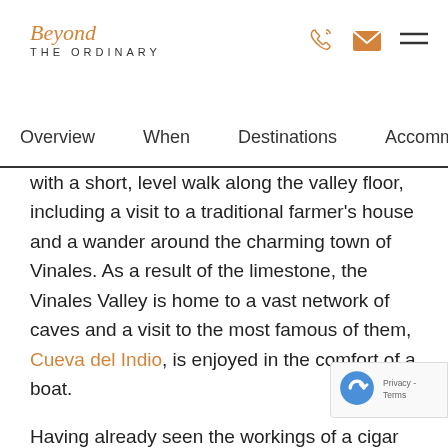Beyond THE ORDINARY
Overview   When   Destinations   Accommodation   It
with a short, level walk along the valley floor, including a visit to a traditional farmer's house and a wander around the charming town of Vinales. As a result of the limestone, the Vinales Valley is home to a vast network of caves and a visit to the most famous of them, Cueva del Indio, is enjoyed in the comfort of a boat.
Having already seen the workings of a cigar factory in Havana, there will also be a chance to visit a tobacco farm and learn how the crop is harvested, before then being dried in special barns.
Lunch follows at an organic farm that boasts